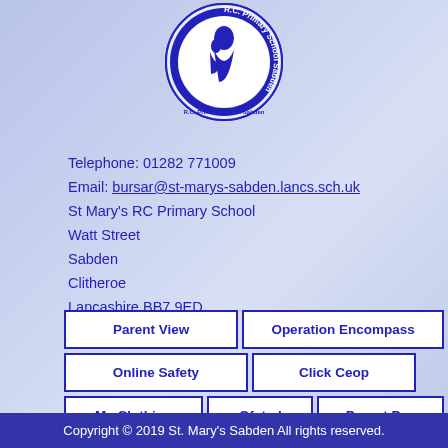[Figure (logo): R.C. Primary School Sabden circular logo with blue and white design]
Telephone: 01282 771009
Email: bursar@st-marys-sabden.lancs.sch.uk
St Mary's RC Primary School
Watt Street
Sabden
Clitheroe
Lancashire BB7 9ED
Parent View
Operation Encompass
Online Safety
Click Ceop
My Clothing
Ofsted
Parent Pay
Copyright © 2019 St. Mary's Sabden All rights reserved.